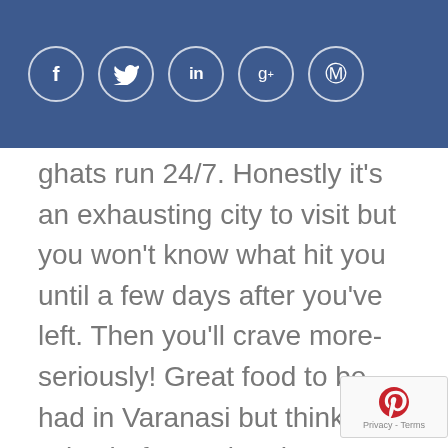[Figure (other): Social media share icons: Facebook (f), Twitter (bird), LinkedIn (in), Google+ (g+), Pinterest (p) — white circle outlines on dark blue header bar]
ghats run 24/7. Honestly it's an exhausting city to visit but you won't know what hit you until a few days after you've left. Then you'll crave more-seriously! Great food to be had in Varanasi but think twice before trying the street food-people do get sick from it there. It's India so negotiate hard especially for boat rides and taxis-auto rickshaws. Don't be surprised if you're walking down the street and run into a body being carried to the